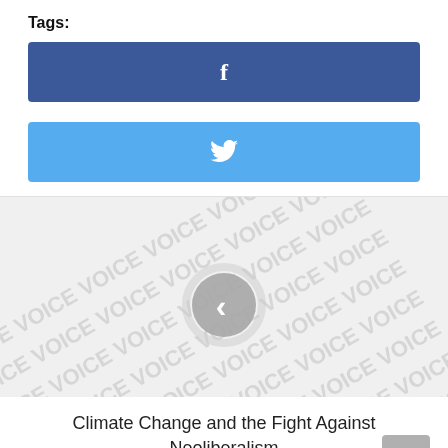Tags:
[Figure (screenshot): Facebook share button — dark blue rounded rectangle with white Facebook 'f' icon]
[Figure (screenshot): Twitter share button — light blue rounded rectangle with white Twitter bird icon]
[Figure (screenshot): Watermarked image area with repeating 'VOICE' text watermark in grey, and a grey circular back/previous navigation button with a left chevron in the center]
Climate Change and the Fight Against Neoliberalism